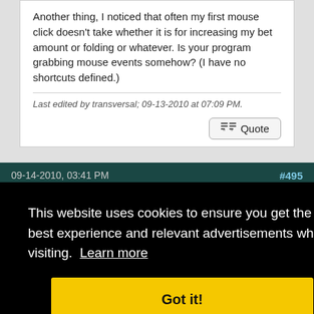Another thing, I noticed that often my first mouse click doesn't take whether it is for increasing my bet amount or folding or whatever. Is your program grabbing mouse events somehow? (I have no shortcuts defined.)
Last edited by transversal; 09-13-2010 at 07:09 PM.
Quote
09-14-2010, 03:41 PM
#495
Jamb
This website uses cookies to ensure you get the best experience and relevant advertisements while visiting. Learn more
Got it!